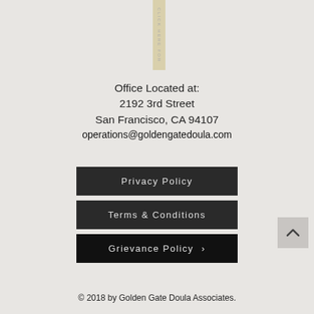[Figure (other): Vertical decorative ribbon/bookmark element at top center of page]
Office Located at:
2192 3rd Street
San Francisco, CA 94107
operations@goldengatedoula.com
Privacy Policy
Terms & Conditions
Grievance Policy >
[Figure (other): Back to top button with upward chevron arrow]
© 2018 by Golden Gate Doula Associates.